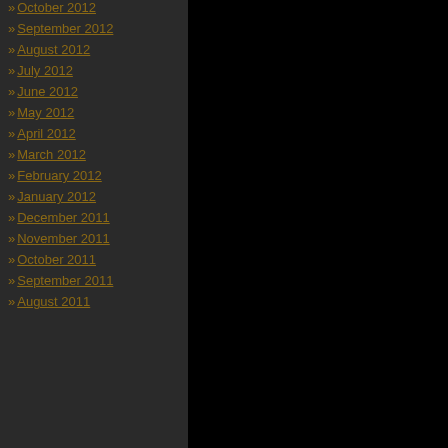» October 2012
» September 2012
» August 2012
» July 2012
» June 2012
» May 2012
» April 2012
» March 2012
» February 2012
» January 2012
» December 2011
» November 2011
» October 2011
» September 2011
» August 2011